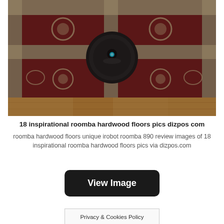[Figure (photo): A Roomba robot vacuum cleaner sitting on an ornate red and cream patterned rug on a hardwood floor, photographed from a low angle in dim lighting.]
18 inspirational roomba hardwood floors pics dizpos com
roomba hardwood floors unique irobot roomba 890 review images of 18 inspirational roomba hardwood floors pics via dizpos.com
[Figure (other): A dark rounded-rectangle button labeled 'View Image' in white bold text.]
Privacy & Cookies Policy